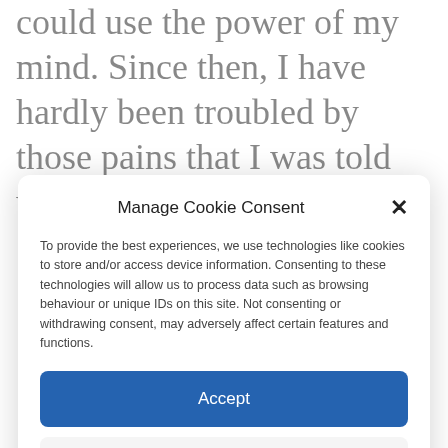could use the power of my mind. Since then, I have hardly been troubled by those pains that I was told were always
Manage Cookie Consent
To provide the best experiences, we use technologies like cookies to store and/or access device information. Consenting to these technologies will allow us to process data such as browsing behaviour or unique IDs on this site. Not consenting or withdrawing consent, may adversely affect certain features and functions.
Accept
Deny
View preferences
Cookie Policy  Privacy Policy